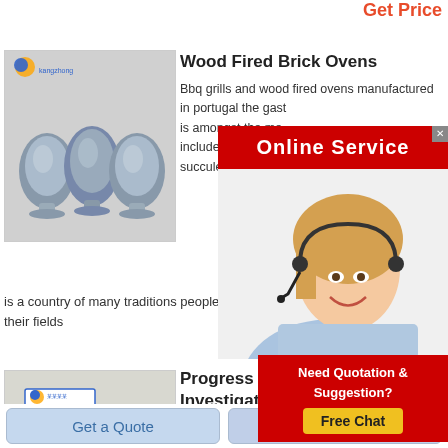Get Price
[Figure (photo): Three blue-grey egg-shaped objects on stands with a logo in upper left corner]
Wood Fired Brick Ovens
Bbq grills and wood fired ovens manufactured in portugal the gast is amongst the most includes fish and se succulent meats fro is a country of many traditions people still living from th their fields
[Figure (photo): Online Service popup with a woman wearing headset]
[Figure (photo): Pile of grey/white powder material with a label card]
Progress Rep Investigation And
2012 7 31 692
bureauofstandardsjournalofresearch ivoi s iv
results continued page 7 thermalexpansion 702
a fireclays 702 6 fire claybricks 704 c
[Figure (infographic): Need Quotation & Suggestion? Free Chat button]
Get a Quote
Chat Now